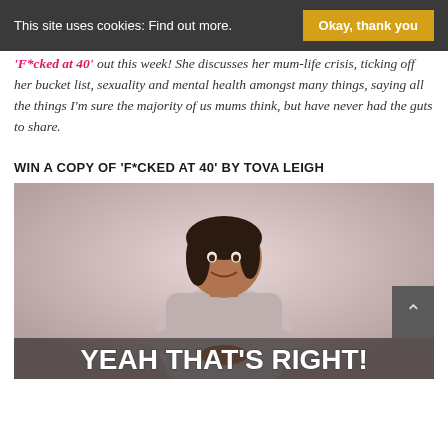This site uses cookies: Find out more. | Okay, thank you
'F*cked at 40' out this week! She discusses her mum-life crisis, ticking off her bucket list, sexuality and mental health amongst many things, saying all the things I'm sure the majority of us mums think, but have never had the guts to share.
WIN A COPY OF 'F*CKED AT 40' BY TOVA LEIGH
[Figure (photo): Photo of Tova Leigh wearing a light grey hoodie, smiling, with pink/mauve background. Text overlay at bottom reads 'YEAH THAT'S RIGHT!']